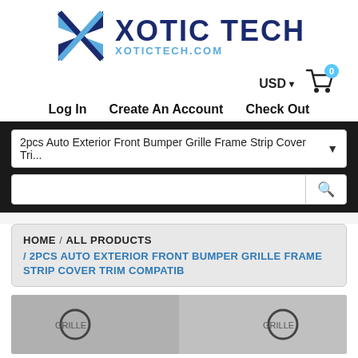[Figure (logo): Xotic Tech logo with blue X graphic and text XOTIC TECH and XoticTech.com]
USD ▾
[Figure (other): Shopping cart icon with blue badge showing 0]
Log In   Create An Account   Check Out
2pcs Auto Exterior Front Bumper Grille Frame Strip Cover Tri...
Search input field with search button
HOME  /  ALL PRODUCTS  /  2PCS AUTO EXTERIOR FRONT BUMPER GRILLE FRAME STRIP COVER TRIM COMPATIB
[Figure (photo): Product photo showing front bumper grille frame strips on a vehicle]